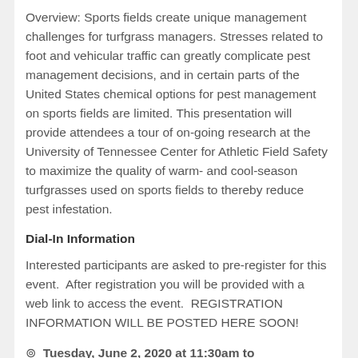Overview: Sports fields create unique management challenges for turfgrass managers. Stresses related to foot and vehicular traffic can greatly complicate pest management decisions, and in certain parts of the United States chemical options for pest management on sports fields are limited. This presentation will provide attendees a tour of on-going research at the University of Tennessee Center for Athletic Field Safety to maximize the quality of warm- and cool-season turfgrasses used on sports fields to thereby reduce pest infestation.
Dial-In Information
Interested participants are asked to pre-register for this event.  After registration you will be provided with a web link to access the event.  REGISTRATION INFORMATION WILL BE POSTED HERE SOON!
⊙  Tuesday, June 2, 2020 at 11:30am to 12:30pm